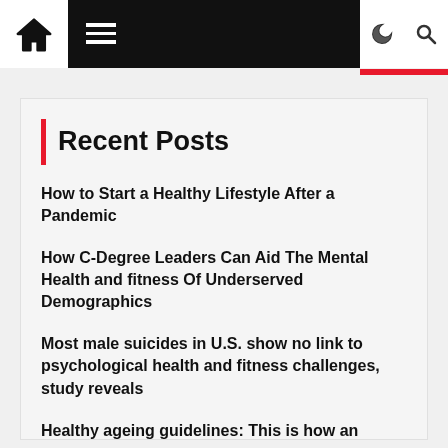Navigation bar with home icon, menu, moon/search icons
Recent Posts
How to Start a Healthy Lifestyle After a Pandemic
How C-Degree Leaders Can Aid The Mental Health and fitness Of Underserved Demographics
Most male suicides in U.S. show no link to psychological health and fitness challenges, study reveals
Healthy ageing guidelines: This is how an Indian well balanced diet regime can operate miracles